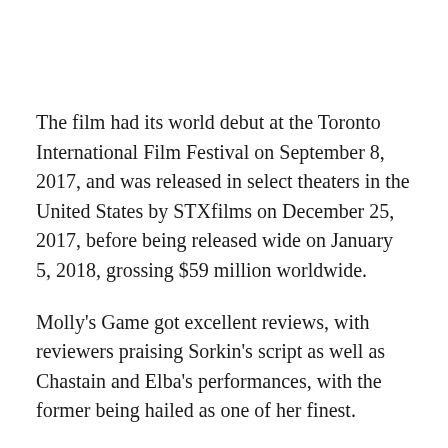The film had its world debut at the Toronto International Film Festival on September 8, 2017, and was released in select theaters in the United States by STXfilms on December 25, 2017, before being released wide on January 5, 2018, grossing $59 million worldwide.
Molly's Game got excellent reviews, with reviewers praising Sorkin's script as well as Chastain and Elba's performances, with the former being hailed as one of her finest.